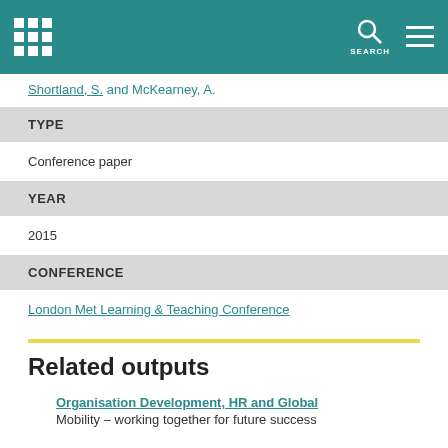London Metropolitan University — SEARCH
Shortland, S. and McKearney, A.
TYPE
Conference paper
YEAR
2015
CONFERENCE
London Met Learning & Teaching Conference
Related outputs
Organisation Development, HR and Global Mobility – working together for future success